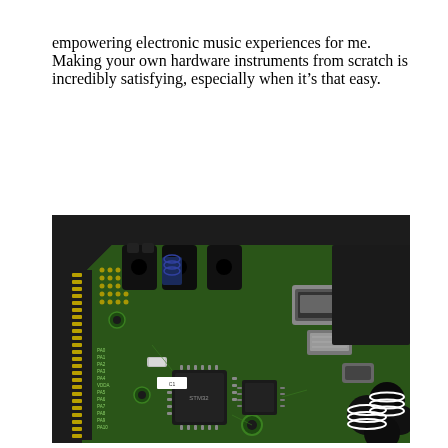empowering electronic music experiences for me. Making your own hardware instruments from scratch is incredibly satisfying, especially when it's that easy.
[Figure (photo): Close-up photograph of a green electronic circuit board (PCB) with various components including microchips, USB ports, header pins, and audio jacks, placed on a dark surface with black cables visible at the bottom right.]